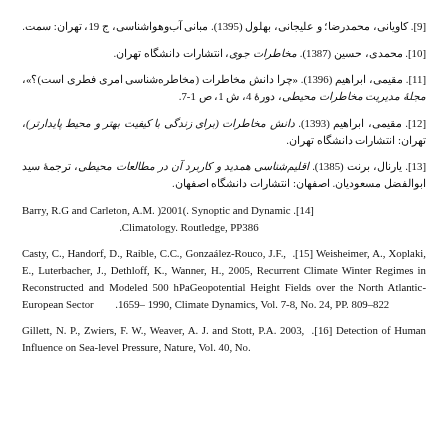[9]. کاویانی، محمدرضا؛ و علیجانی، بهلول (1395). مبانی آب‌وهواشناسی، ج 19، تهران: سمت.
[10]. محمدی، حسین (1387). مخاطرات جوی، انتشارات دانشگاه تهران.
[11]. مقیمی، ابراهیم (1396). «چرا دانش مخاطرات (مخاطره‌شناسی امری فطری است)؟»، مجلۀ مدیریت مخاطرات محیطی، دورۀ 4، ش 1، ص 1-7.
[12]. مقیمی، ابراهیم (1393). دانش مخاطرات (برای زندگی با کیفیت بهتر و محیط پایدارتر)، تهران: انتشارات دانشگاه تهران.
[13]. یارنال، برنت (1385). اقلیم‌شناسی همدید و کاربرد آن در مطالعات محیطی، ترجمۀ سید ابوالفضل مسعودیان. اصفهان: انتشارات دانشگاه اصفهان.
[14] Barry, R.G and Carleton, A.M. )2001(. Synoptic and Dynamic Climatology. Routledge, PP386.
[15] Casty, C., Handorf, D., Raible, C.C., Gonzaález-Rouco, J.F., Weisheimer, A., Xoplaki, E., Luterbacher, J., Dethloff, K., Wanner, H., 2005, Recurrent Climate Winter Regimes in Reconstructed and Modeled 500 hPaGeopotential Height Fields over the North Atlantic-European Sector 1659– 1990, Climate Dynamics, Vol. 7-8, No. 24, PP. 809–822.
[16] Gillett, N. P., Zwiers, F. W., Weaver, A. J. and Stott, P.A. 2003, Detection of Human Influence on Sea-level Pressure, Nature, Vol. 40, No.